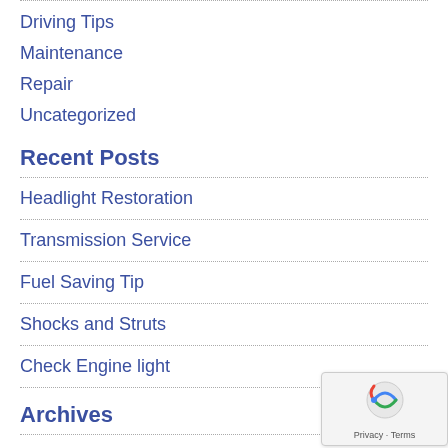Driving Tips
Maintenance
Repair
Uncategorized
Recent Posts
Headlight Restoration
Transmission Service
Fuel Saving Tip
Shocks and Struts
Check Engine light
Archives
February 2017
January 2017